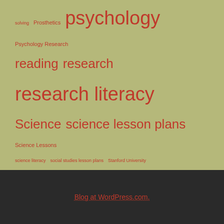solving Prosthetics psychology Psychology Research reading research research literacy Science science lesson plans Science Lessons science literacy social studies lesson plans Stanford University sustainable agriculture teaching Teaching Resources Teaching Strategies UC Berkeley UCLA University of Alabama University of Chicago University of Cincinnati University of Michigan University of Minnesota Wayne State University Western Michigan University World History Lesson Plans Yale
Blog at WordPress.com.